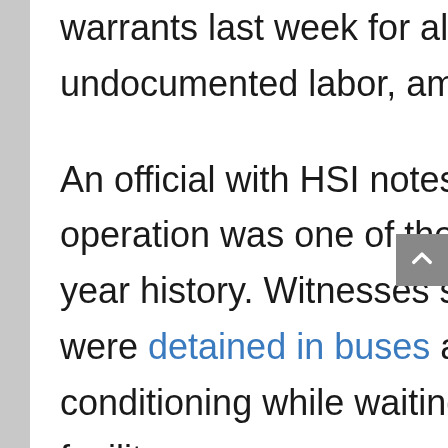warrants last week for allegedly exploiting undocumented labor, among other crimes.
An official with HSI notes that the O'Neill, Nebraska operation was one of the largest in the agency's 15-year history. Witnesses say that the arrested individuals were detained in buses and tents without air conditioning while waiting to be transported to an ICE facility.
Affected businesses include a tomato